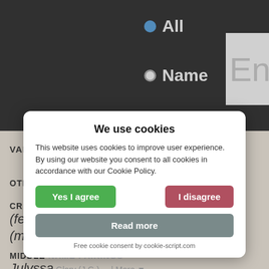[Figure (screenshot): Dark header bar with radio buttons labeled All and Name, and partial search entry box]
VARIANT Julisa ▼
OTHER FORM VIA JULISSA Julisha
CREATIVE FORMS (female) (male)
MIDDLE NAME PAIRINGS Julyssa Glory (J.G.) ... More ▼
We use cookies
This website uses cookies to improve user experience. By using our website you consent to all cookies in accordance with our Cookie Policy.
Yes I agree | I disagree
Read more
Free cookie consent by cookie-script.com